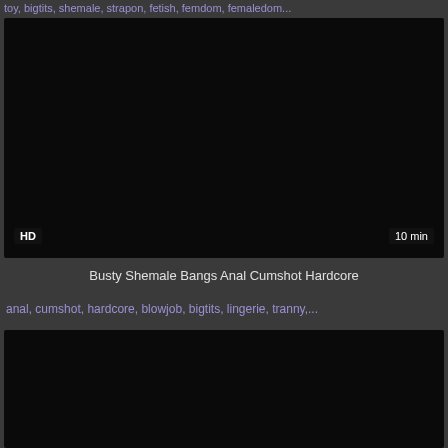toy, bigtits, shemale, strapon, fetish, femdom, femaledom...
[Figure (screenshot): Dark video thumbnail with HD badge and 10 min duration label]
Busty Shemale Bangs Anal Cumshot Hardcore
anal, cumshot, hardcore, blowjob, bigtits, lingerie, tranny,...
[Figure (screenshot): Dark video thumbnail, partially visible at bottom of page]